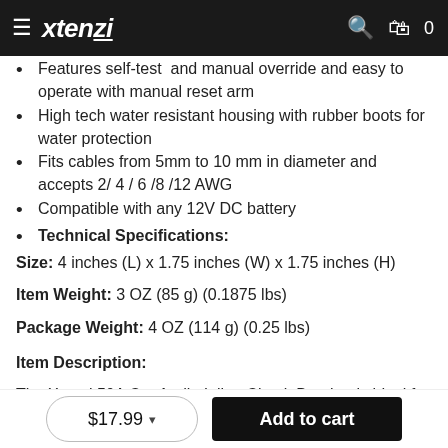Xtenzi (logo) navigation header
Prevents excessive heat and stops power surges from damage...
Features self-test  and manual override and easy to operate with manual reset arm
High tech water resistant housing with rubber boots for water protection
Fits cables from 5mm to 10 mm in diameter and accepts 2/ 4 / 6 /8 /12 AWG
Compatible with any 12V DC battery
Technical Specifications:
Size: 4 inches (L) x 1.75 inches (W) x 1.75 inches (H)
Item Weight: 3 OZ (85 g) (0.1875 lbs)
Package Weight: 4 OZ (114 g) (0.25 lbs)
Item Description:
The Xtenzi 50A Car Audio Inline Circuit Breaker is ideal for protecting your vehicles audio and video system from power
$17.99  Add to cart